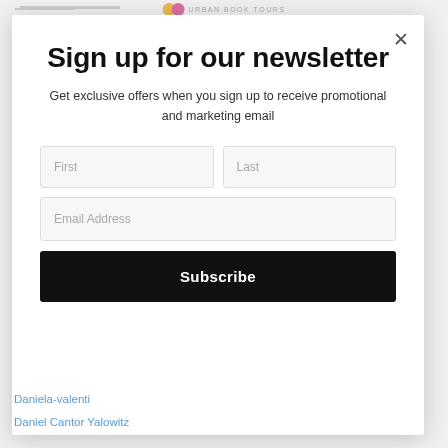[Figure (screenshot): Background webpage with logo and navigation partially visible behind modal overlay]
Sign up for our newsletter
Get exclusive offers when you sign up to receive promotional and marketing email
Subscribe
Daniela-valenti
Daniel Cantor Yalowitz